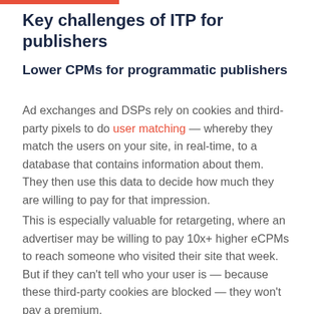Key challenges of ITP for publishers
Lower CPMs for programmatic publishers
Ad exchanges and DSPs rely on cookies and third-party pixels to do user matching — whereby they match the users on your site, in real-time, to a database that contains information about them. They then use this data to decide how much they are willing to pay for that impression.
This is especially valuable for retargeting, where an advertiser may be willing to pay 10x+ higher eCPMs to reach someone who visited their site that week. But if they can't tell who your user is — because these third-party cookies are blocked — they won't pay a premium.